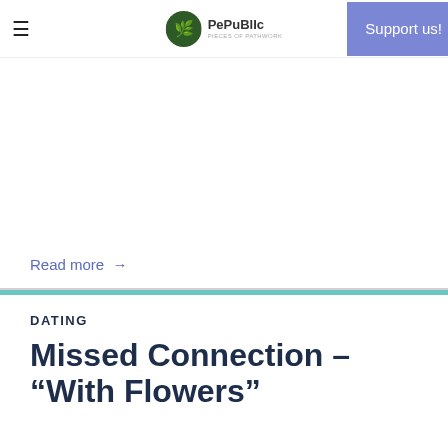≡  PePulBc  Support us!
Read more →
DATING
Missed Connection – “With Flowers”